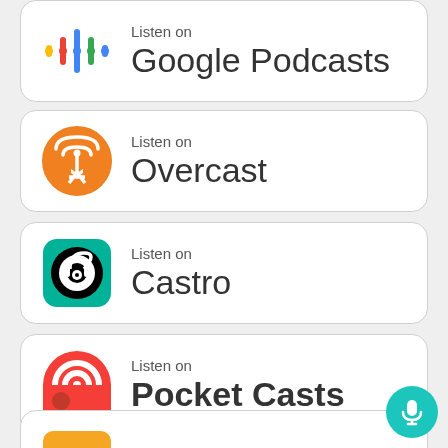[Figure (logo): Listen on Google Podcasts badge with colorful dot/bar icon]
[Figure (logo): Listen on Overcast badge with orange tower/signal icon]
[Figure (logo): Listen on Castro badge with teal rounded square and headphone icon]
[Figure (logo): Listen on Pocket Casts badge with red circular logo]
[Figure (logo): Subscribe via RSS badge with orange RSS icon (partially visible)]
[Figure (logo): Teal microphone circular button in bottom right corner]